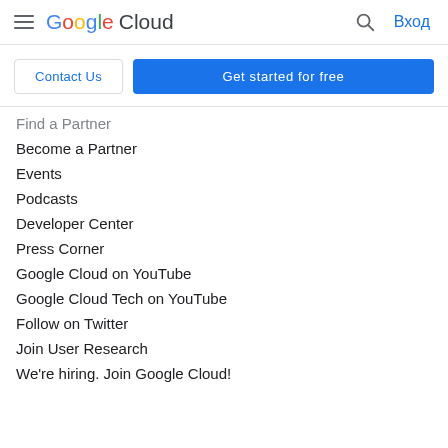Google Cloud — Вход
Contact Us | Get started for free
Find a Partner
Become a Partner
Events
Podcasts
Developer Center
Press Corner
Google Cloud on YouTube
Google Cloud Tech on YouTube
Follow on Twitter
Join User Research
We're hiring. Join Google Cloud!